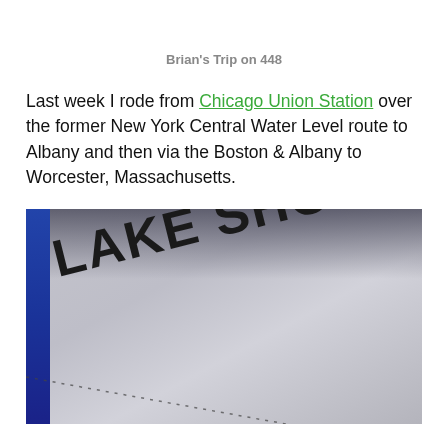Brian's Trip on 448
Last week I rode from Chicago Union Station over the former New York Central Water Level route to Albany and then via the Boston & Albany to Worcester, Massachusetts.
[Figure (photo): Close-up photo of an Amtrak Lake Shore Limited train document or ticket, showing the text 'LAKE SHORE LIMITED' with a registered trademark symbol in bold black letters on a gray/white surface. A blue stripe is visible on the left edge. A dotted line runs diagonally across the lower portion of the image.]